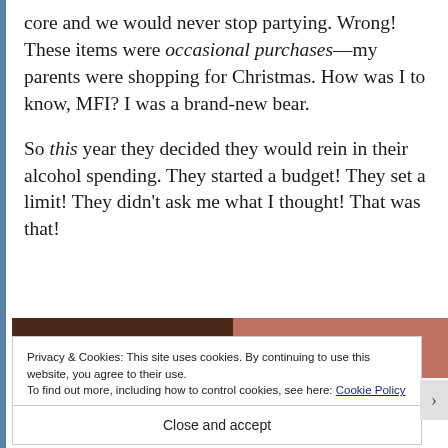core and we would never stop partying. Wrong! These items were occasional purchases—my parents were shopping for Christmas. How was I to know, MFI? I was a brand-new bear.
So this year they decided they would rein in their alcohol spending. They started a budget! They set a limit! They didn't ask me what I thought! That was that!
[Figure (photo): Partial photo showing dark brown and pinkish/flesh-colored sections, cropped at bottom of content area]
Privacy & Cookies: This site uses cookies. By continuing to use this website, you agree to their use.
To find out more, including how to control cookies, see here: Cookie Policy
Close and accept